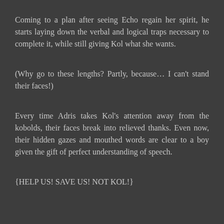Coming to a plan after seeing Echo regain her spirit, he starts laying down the verbal and logical traps necessary to complete it, while still giving Kol what she wants.
(Why go to these lengths? Partly, because… I can't stand their faces!)
Every time Adris takes Kol's attention away from the kobolds, their faces break into relieved thanks. Even now, their hidden gazes and mouthed words are clear to a boy given the gift of perfect understanding of speech.
{HELP US! SAVE US! NOT KOL!}